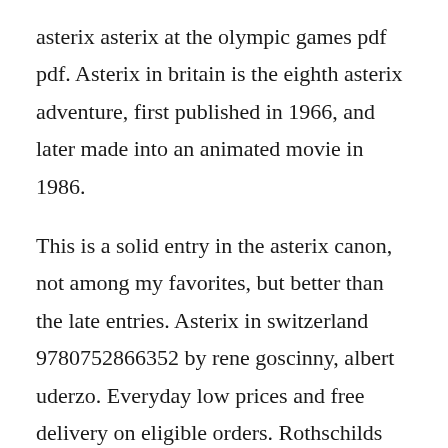asterix asterix at the olympic games pdf pdf. Asterix in britain is the eighth asterix adventure, first published in 1966, and later made into an animated movie in 1986.
This is a solid entry in the asterix canon, not among my favorites, but better than the late entries. Asterix in switzerland 9780752866352 by rene goscinny, albert uderzo. Everyday low prices and free delivery on eligible orders. Rothschilds lively annotations discuss important features of each workincluding the quality of the graphics,